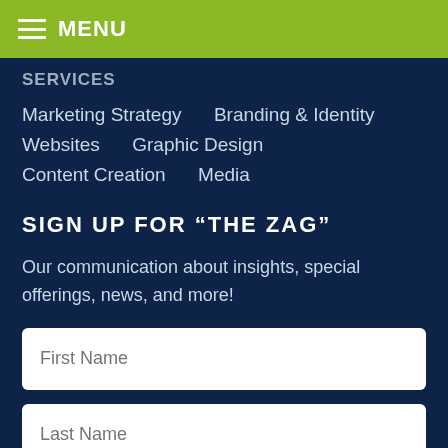MENU
SERVICES
Marketing Strategy
Branding & Identity
Websites
Graphic Design
Content Creation
Media
SIGN UP FOR “THE ZAG”
Our communication about insights, special offerings, news, and more!
First Name
Last Name